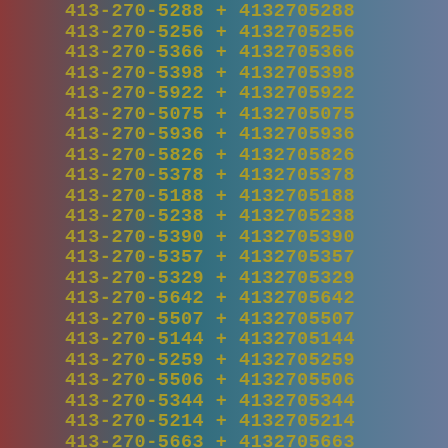| Formatted Number | Operator | Digits |
| --- | --- | --- |
| 413-270-5288 | + | 4132705288 |
| 413-270-5256 | + | 4132705256 |
| 413-270-5366 | + | 4132705366 |
| 413-270-5398 | + | 4132705398 |
| 413-270-5922 | + | 4132705922 |
| 413-270-5075 | + | 4132705075 |
| 413-270-5936 | + | 4132705936 |
| 413-270-5826 | + | 4132705826 |
| 413-270-5378 | + | 4132705378 |
| 413-270-5188 | + | 4132705188 |
| 413-270-5238 | + | 4132705238 |
| 413-270-5390 | + | 4132705390 |
| 413-270-5357 | + | 4132705357 |
| 413-270-5329 | + | 4132705329 |
| 413-270-5642 | + | 4132705642 |
| 413-270-5507 | + | 4132705507 |
| 413-270-5144 | + | 4132705144 |
| 413-270-5259 | + | 4132705259 |
| 413-270-5506 | + | 4132705506 |
| 413-270-5344 | + | 4132705344 |
| 413-270-5214 | + | 4132705214 |
| 413-270-5663 | + | 4132705663 |
| 413-270-5884 | + | 4132705884 |